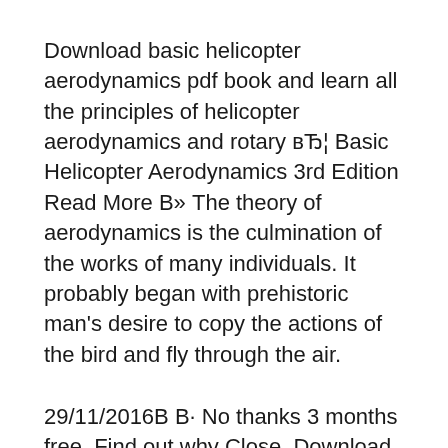Download basic helicopter aerodynamics pdf book and learn all the principles of helicopter aerodynamics and rotary вЂ¦ Basic Helicopter Aerodynamics 3rd Edition Read More В» The theory of aerodynamics is the culmination of the works of many individuals. It probably began with prehistoric man's desire to copy the actions of the bird and fly through the air.
29/11/2016В В· No thanks 3 months free. Find out why Close. Download Download Principles of Helicopter Aerodynamics with CD Extra Cambridge Aerospace PDF Book C. Reidun